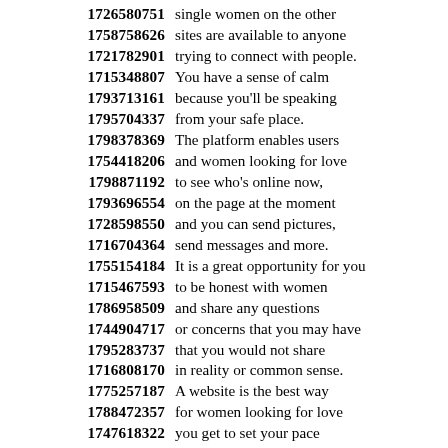1726580751 single women on the other
1758758626 sites are available to anyone
1721782901 trying to connect with people.
1715348807 You have a sense of calm
1793713161 because you'll be speaking
1795704337 from your safe place.
1798378369 The platform enables users
1754418206 and women looking for love
1798871192 to see who's online now,
1793696554 on the page at the moment
1728598550 and you can send pictures,
1716704364 send messages and more.
1755154184 It is a great opportunity for you
1715467593 to be honest with women
1786958509 and share any questions
1744904717 or concerns that you may have
1795283737 that you would not share
1716808170 in reality or common sense.
1775257187 A website is the best way
1788472357 for women looking for love
1747618322 you get to set your pace
1766898789 and find the best partner
1772637387 who work best in the
1745644350 meeting place online!
1753631623 Our website opens in a new
1771516470 opportunities where there are